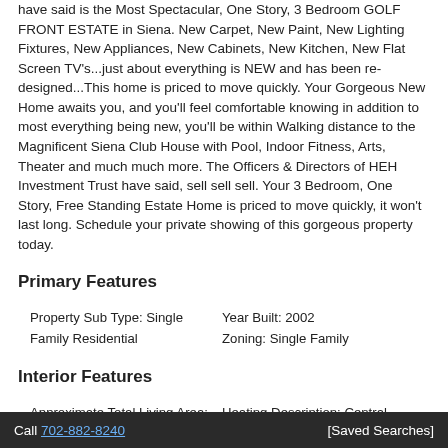have said is the Most Spectacular, One Story, 3 Bedroom GOLF FRONT ESTATE in Siena. New Carpet, New Paint, New Lighting Fixtures, New Appliances, New Cabinets, New Kitchen, New Flat Screen TV's...just about everything is NEW and has been re-designed...This home is priced to move quickly. Your Gorgeous New Home awaits you, and you'll feel comfortable knowing in addition to most everything being new, you'll be within Walking distance to the Magnificent Siena Club House with Pool, Indoor Fitness, Arts, Theater and much much more. The Officers & Directors of HEH Investment Trust have said, sell sell sell. Your 3 Bedroom, One Story, Free Standing Estate Home is priced to move quickly, it won't last long. Schedule your private showing of this gorgeous property today.
Primary Features
Property Sub Type: Single Family Residential
Year Built: 2002
Zoning: Single Family
Interior Features
Approximate Total Living Area: 2234
Bath Downstairs: yes
Heating Description: Central
Heating Fuel: Gas
Interior: Ceiling Fan(s), Pot
Call 702-882-8240   [Saved Searches]